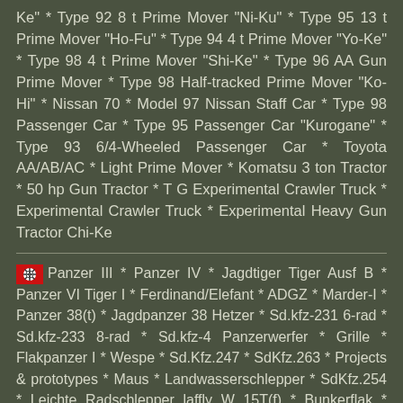Ke" * Type 92 8 t Prime Mover "Ni-Ku" * Type 95 13 t Prime Mover "Ho-Fu" * Type 94 4 t Prime Mover "Yo-Ke" * Type 98 4 t Prime Mover "Shi-Ke" * Type 96 AA Gun Prime Mover * Type 98 Half-tracked Prime Mover "Ko-Hi" * Nissan 70 * Model 97 Nissan Staff Car * Type 98 Passenger Car * Type 95 Passenger Car "Kurogane" * Type 93 6/4-Wheeled Passenger Car * Toyota AA/AB/AC * Light Prime Mover * Komatsu 3 ton Tractor * 50 hp Gun Tractor * T G Experimental Crawler Truck * Experimental Crawler Truck * Experimental Heavy Gun Tractor Chi-Ke
🏴 Panzer III * Panzer IV * Jagdtiger Tiger Ausf B * Panzer VI Tiger I * Ferdinand/Elefant * ADGZ * Marder-I * Panzer 38(t) * Jagdpanzer 38 Hetzer * Sd.kfz-231 6-rad * Sd.kfz-233 8-rad * Sd.kfz-4 Panzerwerfer * Grille * Flakpanzer I * Wespe * Sd.Kfz.247 * SdKfz.263 * Projects & prototypes * Maus * Landwasserschlepper * SdKfz.254 * Leichte Radschlepper laffly W 15T(f) * Bunkerflak * Bergepanzer III * Bergepanzer IV * Bergepanther